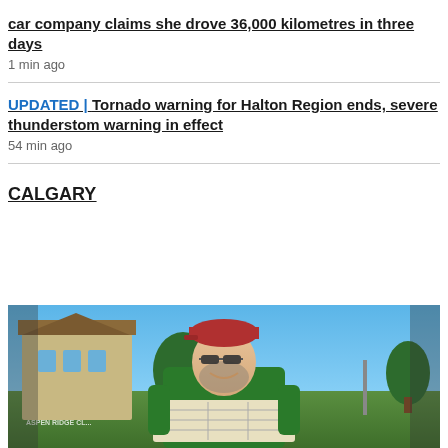car company claims she drove 36,000 kilometres in three days
1 min ago
UPDATED | Tornado warning for Halton Region ends, severe thunderstom warning in effect
54 min ago
CALGARY
[Figure (photo): A man wearing a red cap and sunglasses, smiling and holding a map, standing in front of a building with a sign reading ASPEN RIDGE CL... with trees and blue sky in the background.]